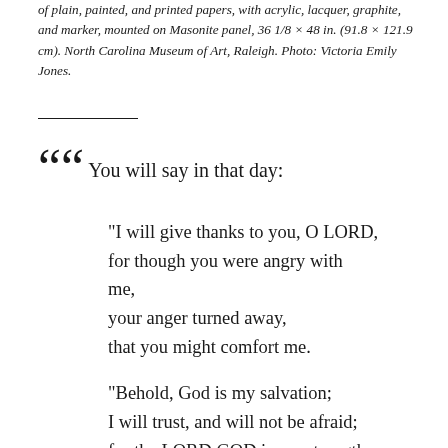of plain, painted, and printed papers, with acrylic, lacquer, graphite, and marker, mounted on Masonite panel, 36 1/8 × 48 in. (91.8 × 121.9 cm). North Carolina Museum of Art, Raleigh. Photo: Victoria Emily Jones.
You will say in that day:
“I will give thanks to you, O LORD, for though you were angry with me, your anger turned away, that you might comfort me.

“Behold, God is my salvation; I will trust, and will not be afraid; for the LORD GOD is my strength